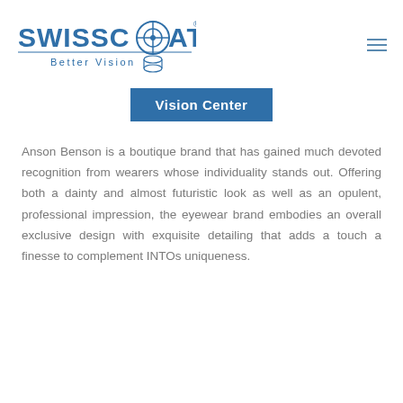[Figure (logo): SwissCoat Better Vision logo in blue, with a circular target/lens icon on the right side of the wordmark]
Vision Center
Anson Benson is a boutique brand that has gained much devoted recognition from wearers whose individuality stands out. Offering both a dainty and almost futuristic look as well as an opulent, professional impression, the eyewear brand embodies an overall exclusive design with exquisite detailing that adds a touch a finesse to complement INTOs uniqueness.